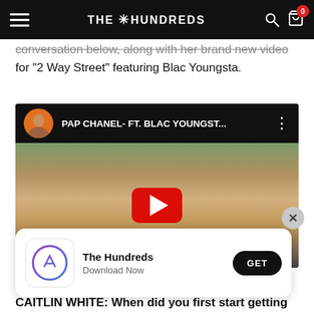THE HUNDREDS
conversation below, along with her brand new video for “2 Way Street” featuring Blac Youngsta.
[Figure (screenshot): YouTube video embed showing 'PAP CHANEL- FT. BLAC YOUNGST...' music video with play button overlay and channel avatar]
[Figure (screenshot): App download banner for 'The Hundreds' app with App Store icon, 'Download Now' text, and GET button]
CAITLIN WHITE: When did you first start getting